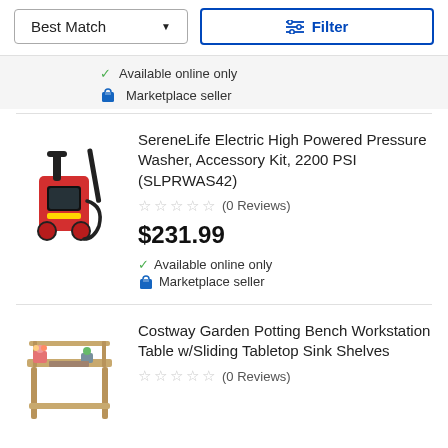[Figure (screenshot): Sort and filter toolbar with Best Match dropdown and Filter button]
Available online only
Marketplace seller
[Figure (photo): SereneLife Electric High Powered Pressure Washer product image, red and black]
SereneLife Electric High Powered Pressure Washer, Accessory Kit, 2200 PSI (SLPRWAS42)
(0 Reviews)
$231.99
Available online only
Marketplace seller
[Figure (photo): Costway Garden Potting Bench Workstation Table product image, wooden bench with plants]
Costway Garden Potting Bench Workstation Table w/Sliding Tabletop Sink Shelves
(0 Reviews)